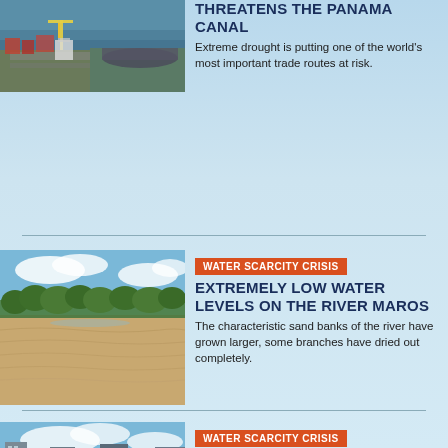[Figure (photo): Aerial view of a port/canal facility with ships, docks, and waterways visible from above]
THREATENS THE PANAMA CANAL
Extreme drought is putting one of the world's most important trade routes at risk.
WATER SCARCITY CRISIS
[Figure (photo): A dry riverbed with extensive sand banks, sparse vegetation and trees lining the banks, blue sky with clouds]
EXTREMELY LOW WATER LEVELS ON THE RIVER MAROS
The characteristic sand banks of the river have grown larger, some branches have dried out completely.
WATER SCARCITY CRISIS
[Figure (photo): Urban cityscape with buildings and city infrastructure visible]
MILLIONS LEFT WITHOUT